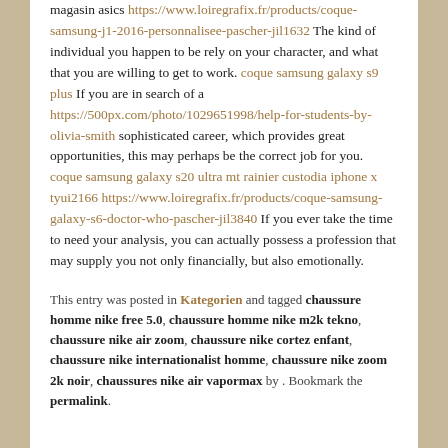magasin asics https://www.loiregrafix.fr/products/coque-samsung-j1-2016-personnalisee-pascher-jil1632 The kind of individual you happen to be rely on your character, and what that you are willing to get to work. coque samsung galaxy s9 plus If you are in search of a https://500px.com/photo/1029651998/help-for-students-by-olivia-smith sophisticated career, which provides great opportunities, this may perhaps be the correct job for you. coque samsung galaxy s20 ultra mt rainier custodia iphone x tyui2166 https://www.loiregrafix.fr/products/coque-samsung-galaxy-s6-doctor-who-pascher-jil3840 If you ever take the time to need your analysis, you can actually possess a profession that may supply you not only financially, but also emotionally.
This entry was posted in Kategorien and tagged chaussure homme nike free 5.0, chaussure homme nike m2k tekno, chaussure nike air zoom, chaussure nike cortez enfant, chaussure nike internationalist homme, chaussure nike zoom 2k noir, chaussures nike air vapormax by . Bookmark the permalink.